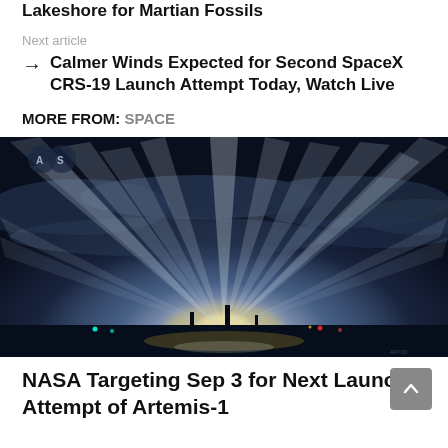Lakeshore for Martian Fossils
Next article
Calmer Winds Expected for Second SpaceX CRS-19 Launch Attempt Today, Watch Live
MORE FROM: SPACE
[Figure (photo): Night launch photo showing bright light beams radiating upward into a dark cloudy sky over water, with a rocket launch glow at the horizon. NASA/SpaceX launch imagery.]
NASA Targeting Sep 3 for Next Launch Attempt of Artemis-1